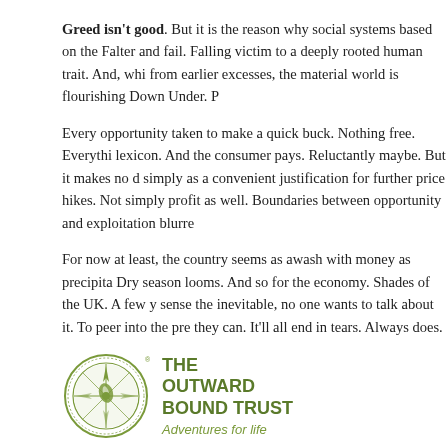Greed isn't good. But it is the reason why social systems based on the... Falter and fail. Falling victim to a deeply rooted human trait. And, whi... from earlier excesses, the material world is flourishing Down Under. P...
Every opportunity taken to make a quick buck. Nothing free. Everythi... lexicon. And the consumer pays. Reluctantly maybe. But it makes no d... simply as a convenient justification for further price hikes. Not simply... profit as well. Boundaries between opportunity and exploitation blurre...
For now at least, the country seems as awash with money as precipita... Dry season looms. And so for the economy. Shades of the UK. A few y... sense the inevitable, no one wants to talk about it. To peer into the pre... they can. It'll all end in tears. Always does.
[Figure (logo): The Outward Bound Trust logo with circular compass emblem, text 'THE OUTWARD BOUND TRUST' in green bold, and tagline 'Adventures for life' in green italic]
Share / Save
Tags: downturn, economy, greed